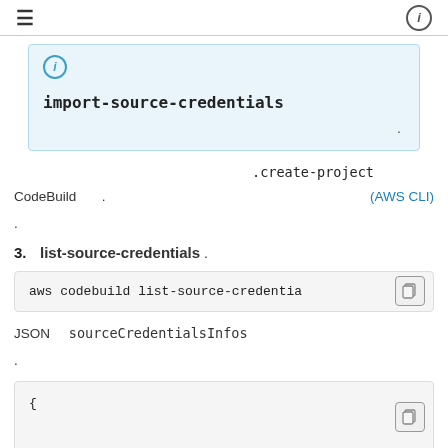≡   ⓘ
import-source-credentials
.
.create-project CodeBuild . (AWS CLI) .
3. list-source-credentials .
aws codebuild list-source-credentia
JSON sourceCredentialsInfos
.
{